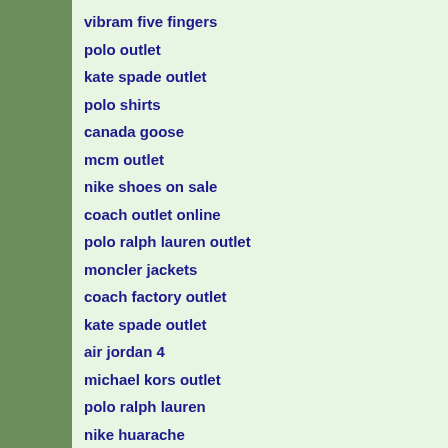vibram five fingers
polo outlet
kate spade outlet
polo shirts
canada goose
mcm outlet
nike shoes on sale
coach outlet online
polo ralph lauren outlet
moncler jackets
coach factory outlet
kate spade outlet
air jordan 4
michael kors outlet
polo ralph lauren
nike huarache
michael kors outlet online